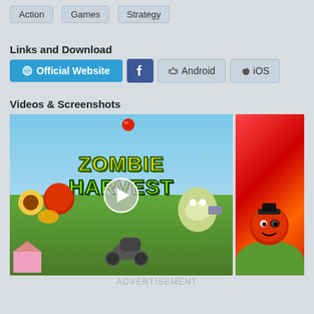Action  Games  Strategy
Links and Download
Official Website  [Facebook]  Android  iOS
Videos & Screenshots
[Figure (screenshot): Zombie Harvest game screenshot showing plant and zombie characters with a play button overlay, plus a second screenshot showing a red character on a green hill with red background]
ADVERTISEMENT